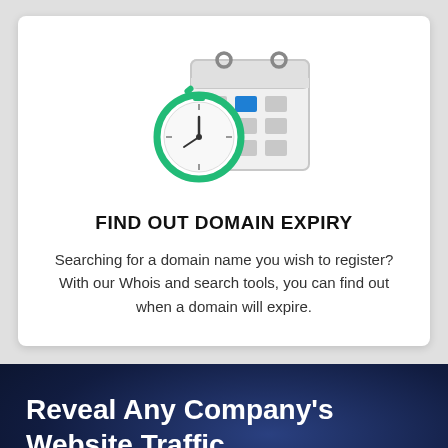[Figure (illustration): Icon showing a calendar with a green stopwatch/timer overlaid on it, representing domain expiry tracking]
FIND OUT DOMAIN EXPIRY
Searching for a domain name you wish to register? With our Whois and search tools, you can find out when a domain will expire.
Reveal Any Company's Website Traffic